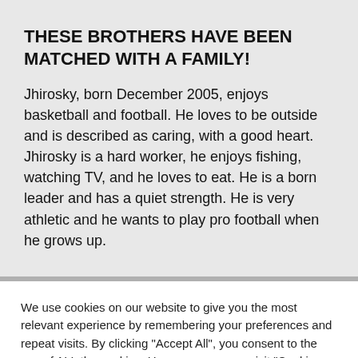THESE BROTHERS HAVE BEEN MATCHED WITH A FAMILY!
Jhirosky, born December 2005, enjoys basketball and football. He loves to be outside and is described as caring, with a good heart. Jhirosky is a hard worker, he enjoys fishing, watching TV, and he loves to eat. He is a born leader and has a quiet strength. He is very athletic and he wants to play pro football when he grows up.
We use cookies on our website to give you the most relevant experience by remembering your preferences and repeat visits. By clicking "Accept All", you consent to the use of ALL the cookies. However, you may visit "Cookie Settings" to provide a controlled consent.
Cookie Settings | Accept All